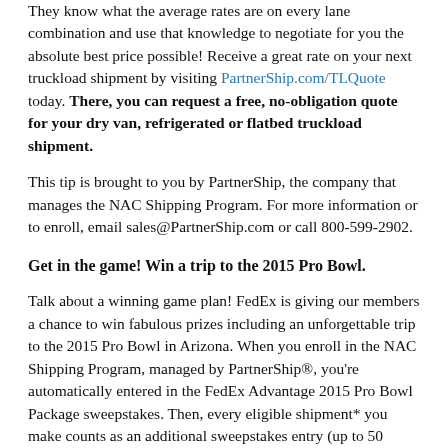They know what the average rates are on every lane combination and use that knowledge to negotiate for you the absolute best price possible! Receive a great rate on your next truckload shipment by visiting PartnerShip.com/TLQuote today. There, you can request a free, no-obligation quote for your dry van, refrigerated or flatbed truckload shipment.
This tip is brought to you by PartnerShip, the company that manages the NAC Shipping Program. For more information or to enroll, email sales@PartnerShip.com or call 800-599-2902.
Get in the game! Win a trip to the 2015 Pro Bowl.
Talk about a winning game plan! FedEx is giving our members a chance to win fabulous prizes including an unforgettable trip to the 2015 Pro Bowl in Arizona. When you enroll in the NAC Shipping Program, managed by PartnerShip®, you're automatically entered in the FedEx Advantage 2015 Pro Bowl Package sweepstakes. Then, every eligible shipment* you make counts as an additional sweepstakes entry (up to 50 additional entries). If you're already enrolled, the program automatically enrolls you to be eligible